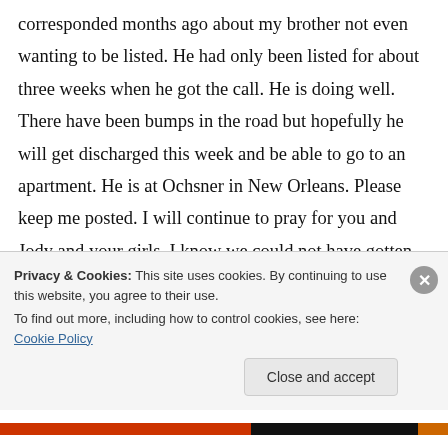corresponded months ago about my brother not even wanting to be listed. He had only been listed for about three weeks when he got the call. He is doing well. There have been bumps in the road but hopefully he will get discharged this week and be able to go to an apartment. He is at Ochsner in New Orleans. Please keep me posted. I will continue to pray for you and Jody and your girls. I know we could not have gotten this far without all the faithful prayers of our friends and family. All my best Julie.
Privacy & Cookies: This site uses cookies. By continuing to use this website, you agree to their use.
To find out more, including how to control cookies, see here: Cookie Policy